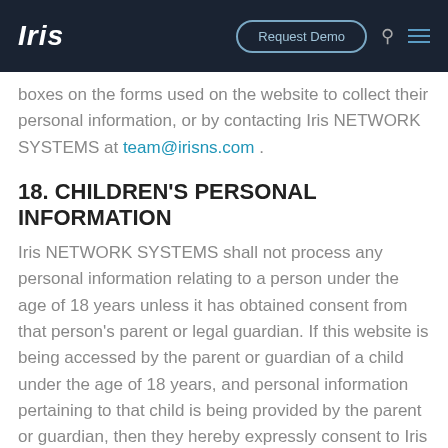Iris — Request Demo [navigation bar]
boxes on the forms used on the website to collect their personal information, or by contacting Iris NETWORK SYSTEMS at team@irisns.com .
18. CHILDREN'S PERSONAL INFORMATION
Iris NETWORK SYSTEMS shall not process any personal information relating to a person under the age of 18 years unless it has obtained consent from that person's parent or legal guardian. If this website is being accessed by the parent or guardian of a child under the age of 18 years, and personal information pertaining to that child is being provided by the parent or guardian, then they hereby expressly consent to Iris NETWORK SYSTEMS processing such information according